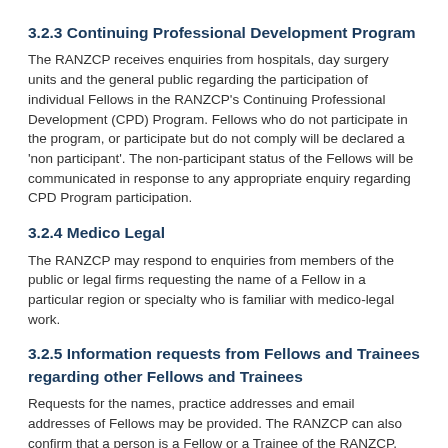3.2.3 Continuing Professional Development Program
The RANZCP receives enquiries from hospitals, day surgery units and the general public regarding the participation of individual Fellows in the RANZCP’s Continuing Professional Development (CPD) Program. Fellows who do not participate in the program, or participate but do not comply will be declared a ‘non participant’. The non-participant status of the Fellows will be communicated in response to any appropriate enquiry regarding CPD Program participation.
3.2.4 Medico Legal
The RANZCP may respond to enquiries from members of the public or legal firms requesting the name of a Fellow in a particular region or specialty who is familiar with medico-legal work.
3.2.5 Information requests from Fellows and Trainees regarding other Fellows and Trainees
Requests for the names, practice addresses and email addresses of Fellows may be provided. The RANZCP can also confirm that a person is a Fellow or a Trainee of the RANZCP. Any other information about a Fellow or Trainee will not be provided without their permission (unless required or authorised by law).